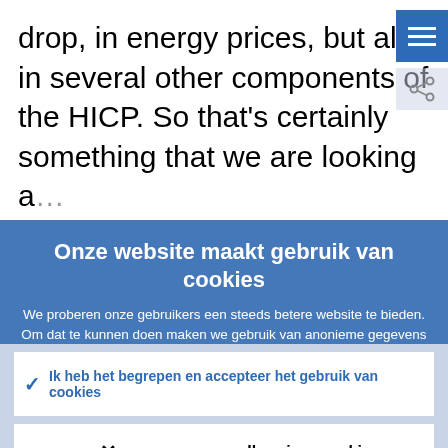drop, in energy prices, but also in several other components of the HICP. So that's certainly something that we are looking a…
Onze website maakt gebruik van cookies
We proberen onze gebruikers een steeds betere website te bieden. Om dat te kunnen doen maken we gebruik van anonieme gegevens afkomstig van cookies.
Nadere informatie over ons gebruik van cookies
Ik heb het begrepen en accepteer het gebruik van cookies
Ik weiger cookies